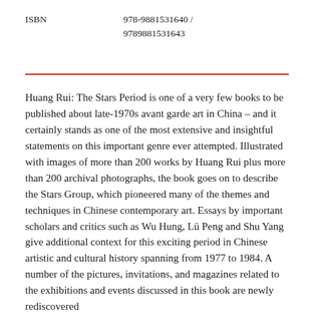ISBN	978-9881531640 / 9789881531643
Huang Rui: The Stars Period is one of a very few books to be published about late-1970s avant garde art in China – and it certainly stands as one of the most extensive and insightful statements on this important genre ever attempted. Illustrated with images of more than 200 works by Huang Rui plus more than 200 archival photographs, the book goes on to describe the Stars Group, which pioneered many of the themes and techniques in Chinese contemporary art. Essays by important scholars and critics such as Wu Hung, Lü Peng and Shu Yang give additional context for this exciting period in Chinese artistic and cultural history spanning from 1977 to 1984. A number of the pictures, invitations, and magazines related to the exhibitions and events discussed in this book are newly rediscovered